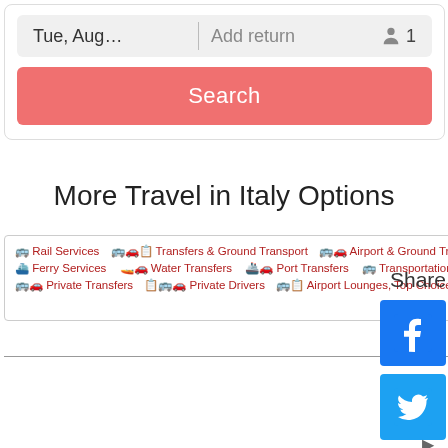[Figure (screenshot): Search widget with date field showing 'Tue, Aug...', 'Add return' field, passenger count showing person icon and '1', and a salmon/coral 'Search' button]
More Travel in Italy Options
[Figure (screenshot): Travel options widget showing links: Rail Services, Transfers & Ground Transport, Airport & Ground Transport, Ferry Services, Water Transfers, Port Transfers, Transportation Services, Private Transfers, Private Drivers, Airport Lounges Top Choice Transfers. With Viator badge.]
Share
[Figure (logo): Facebook share button - blue square with white F logo]
[Figure (logo): Twitter share button - light blue square with white bird logo]